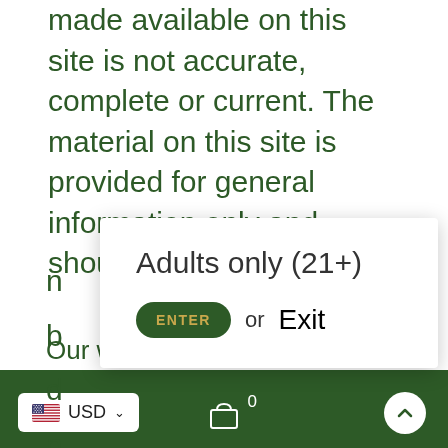made available on this site is not accurate, complete or current. The material on this site is provided for general information only and should
[Figure (screenshot): Modal dialog with 'Adults only (21+)' title, a green ENTER button, and 'or Exit' text]
Our website use cookies. If you continue to use this site we will assume that you are happy with this.
More about cookies: www.aboutcookies.org
[Figure (screenshot): Bottom navigation bar with USD currency selector, shopping cart icon with 0 count, and back to top arrow button]